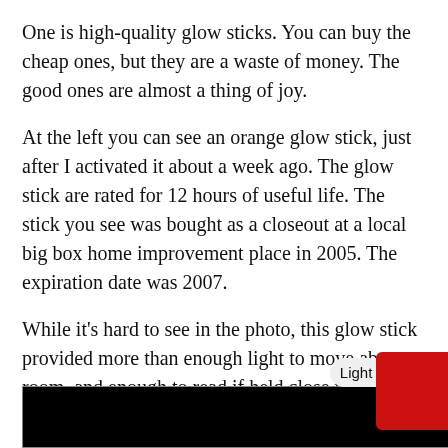One is high-quality glow sticks. You can buy the cheap ones, but they are a waste of money. The good ones are almost a thing of joy.
At the left you can see an orange glow stick, just after I activated it about a week ago. The glow stick are rated for 12 hours of useful life. The stick you see was bought as a closeout at a local big box home improvement place in 2005. The expiration date was 2007.
While it’s hard to see in the photo, this glow stick provided more than enough light to move about a room, and enough to read if held close to the subject matter. And it was 12-ish years past its expiration date. Here are a couple more pictur
[Figure (photo): Dark/black image at the bottom of the page, partially visible. A Light/Dark mode toggle UI element overlaid in the lower right area.]